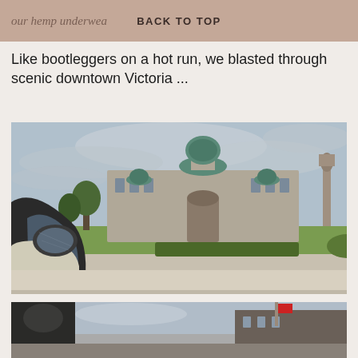our hemp underwea... BACK TO TOP
Like bootleggers on a hot run, we blasted through scenic downtown Victoria ...
[Figure (photo): View from inside a car through the side window mirror showing the British Columbia Parliament Buildings in Victoria, with green copper domes, stone facade, manicured lawn, and a statue on the right. Overcast sky.]
[Figure (photo): Partial view of another photograph showing a building with a Canadian flag, taken from inside a car.]